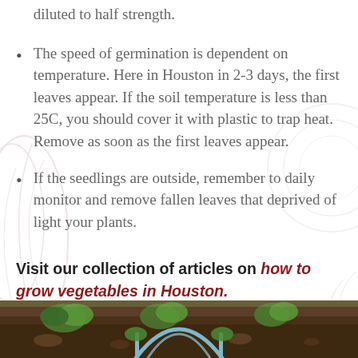diluted to half strength.
The speed of germination is dependent on temperature. Here in Houston in 2-3 days, the first leaves appear. If the soil temperature is less than 25C, you should cover it with plastic to trap heat. Remove as soon as the first leaves appear.
If the seedlings are outside, remember to daily monitor and remove fallen leaves that deprived of light your plants.
Visit our collection of articles on how to grow vegetables in Houston.
[Figure (photo): Garden photo showing plants and a metal arch or trellis structure at the bottom of the page]